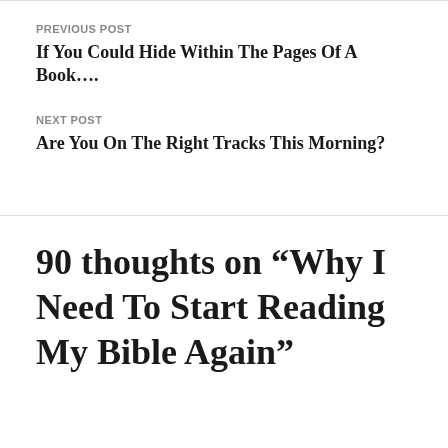PREVIOUS POST
If You Could Hide Within The Pages Of A Book….
NEXT POST
Are You On The Right Tracks This Morning?
90 thoughts on “Why I Need To Start Reading My Bible Again”